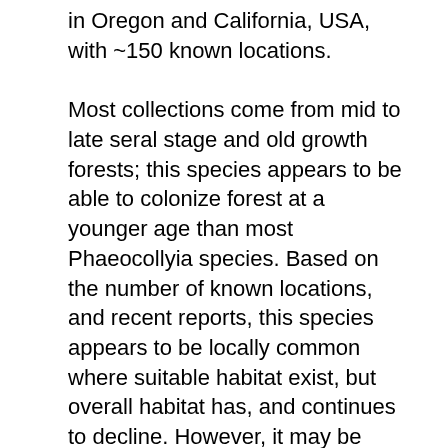in Oregon and California, USA, with ~150 known locations.
Most collections come from mid to late seral stage and old growth forests; this species appears to be able to colonize forest at a younger age than most Phaeocollyia species. Based on the number of known locations, and recent reports, this species appears to be locally common where suitable habitat exist, but overall habitat has, and continues to decline. However, it may be common enough, and have enough of a habitat range to qualify as a Least Concern (LC) listing.
Geographic range
Known from Santa Cruz County, California north in coastal and Coast Range forests, through the Siskiyou Mountains, and Oregon coast and Coast Range, Oregon Cascade